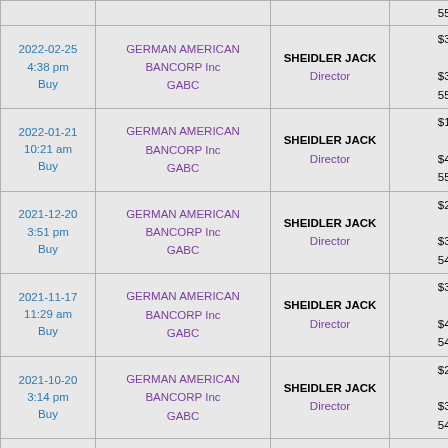| Date/Time/Type | Company/Ticker | Insider/Role | Value/Shares/Price/Total |
| --- | --- | --- | --- |
|  |  |  | 55,752 |
| 2022-02-25
4:38 pm
Buy | GERMAN AMERICAN BANCORP Inc
GABC | SHEIDLER JACK
Director | $3,558
90
$39.53
55,678 |
| 2022-01-21
10:21 am
Buy | GERMAN AMERICAN BANCORP Inc
GABC | SHEIDLER JACK
Director | $1,696
41
$41.37
55,588 |
| 2021-12-20
3:51 pm
Buy | GERMAN AMERICAN BANCORP Inc
GABC | SHEIDLER JACK
Director | $2,582
65
$39.72
54,839 |
| 2021-11-17
11:29 am
Buy | GERMAN AMERICAN BANCORP Inc
GABC | SHEIDLER JACK
Director | $3,504
84
$41.72
54,754 |
| 2021-10-20
3:14 pm
Buy | GERMAN AMERICAN BANCORP Inc
GABC | SHEIDLER JACK
Director | $2,626
66
$39.79
54,670 |
| 2021-09-17
11:40 am
Buy | GERMAN AMERICAN BANCORP Inc
GABC | SHEIDLER JACK
Director | $1,703
48
$35.48
54,604 |